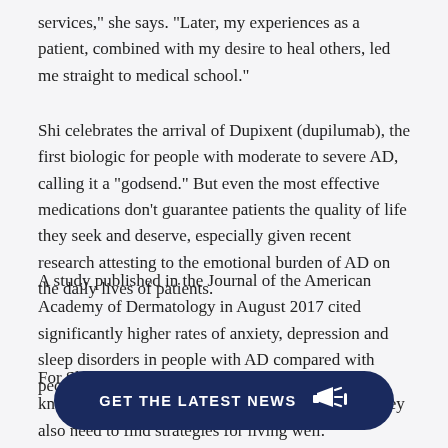services," she says. "Later, my experiences as a patient, combined with my desire to heal others, led me straight to medical school."
Shi celebrates the arrival of Dupixent (dupilumab), the first biologic for people with moderate to severe AD, calling it a “godsend.” But even the most effective medications don’t guarantee patients the quality of life they seek and deserve, especially given recent research attesting to the emotional burden of AD on the daily lives of patients.
A study published in the Journal of the American Academy of Dermatology in August 2017 cited significantly higher rates of anxiety, depression and sleep disorders in people with AD compared with people who don’t have the disease.
For Shi, the new data confirms what she already knows as a patient: People need medications, but they also need to find strategies for living well. Here are her top five wellness tips for patients struggling with t... sleep:
[Figure (other): GET THE LATEST NEWS button with megaphone icon, dark navy rounded pill shape]